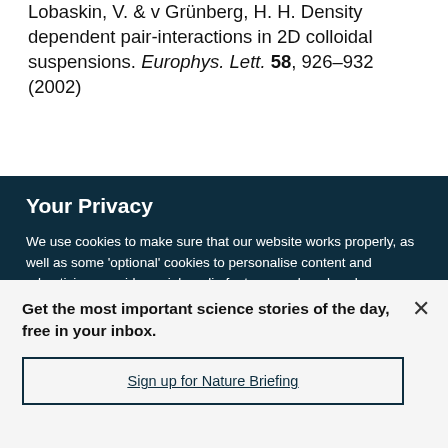Lobaskin, V. & v Grünberg, H. H. Density dependent pair-interactions in 2D colloidal suspensions. Europhys. Lett. 58, 926–932 (2002)
Your Privacy
We use cookies to make sure that our website works properly, as well as some 'optional' cookies to personalise content and advertising, provide social media features and analyse how people use our site. By accepting some or all optional cookies you give consent to the processing of your personal data, including transfer to third parties, some in countries outside of the European Economic Area that do not offer the same data protection standards as the country where you live. You can decide which optional cookies to accept by clicking on 'Manage Settings', where you can
Get the most important science stories of the day, free in your inbox.
Sign up for Nature Briefing